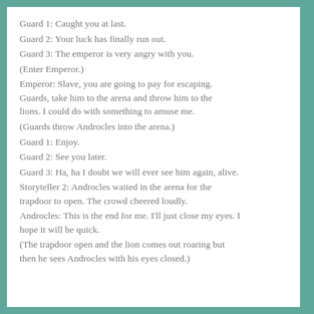Guard 1: Caught you at last.
Guard 2: Your luck has finally run out.
Guard 3: The emperor is very angry with you.
(Enter Emperor.)
Emperor: Slave, you are going to pay for escaping. Guards, take him to the arena and throw him to the lions. I could do with something to amuse me.
(Guards throw Androcles into the arena.)
Guard 1: Enjoy.
Guard 2: See you later.
Guard 3: Ha, ha I doubt we will ever see him again, alive.
Storyteller 2: Androcles waited in the arena for the trapdoor to open. The crowd cheered loudly.
Androcles: This is the end for me. I'll just close my eyes. I hope it will be quick.
(The trapdoor open and the lion comes out roaring but then he sees Androcles with his eyes closed.)